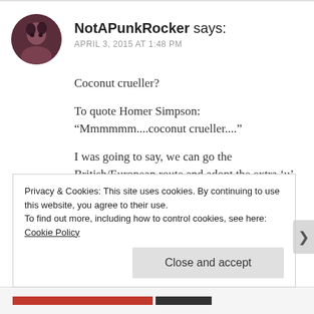NotAPunkRocker says: APRIL 3, 2015 AT 1:48 PM
Coconut crueller?

To quote Homer Simpson:
“Mmmmmm....coconut crueller....”

I was going to say, we can go the British/European route and adopt the extra ‘u’ in crueller. Problem solved!
★ Liked by 1 person
Privacy & Cookies: This site uses cookies. By continuing to use this website, you agree to their use.
To find out more, including how to control cookies, see here: Cookie Policy
Close and accept